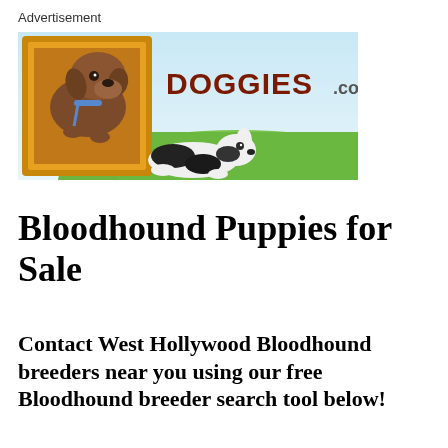Advertisement
[Figure (logo): DOGGIES.com advertisement banner showing a cartoon chocolate Labrador dog in a framed picture on the left, the text DOGGIES.com in large brown letters, and a black and white puppy lying in front against a green outdoor background.]
Bloodhound Puppies for Sale
Contact West Hollywood Bloodhound breeders near you using our free Bloodhound breeder search tool below!